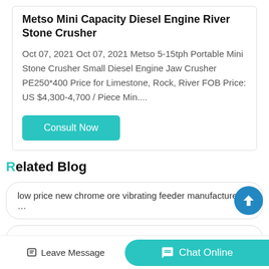Metso Mini Capacity Diesel Engine River Stone Crusher
Oct 07, 2021 Oct 07, 2021 Metso 5-15tph Portable Mini Stone Crusher Small Diesel Engine Jaw Crusher PE250*400 Price for Limestone, Rock, River FOB Price: US $4,300-4,700 / Piece Min....
Consult Now
Related Blog
low price new chrome ore vibrating feeder manufacturer in …
paddle type sludge dryer
Leave Message | Chat Online